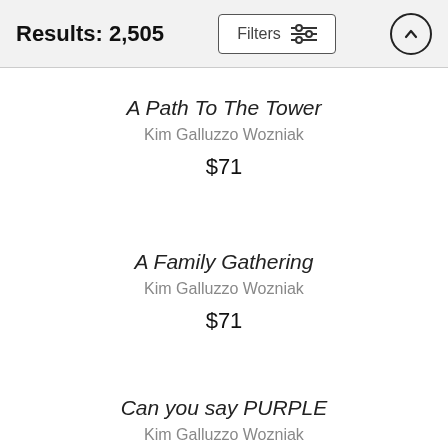Results: 2,505
A Path To The Tower
Kim Galluzzo Wozniak
$71
A Family Gathering
Kim Galluzzo Wozniak
$71
Can you say PURPLE
Kim Galluzzo Wozniak